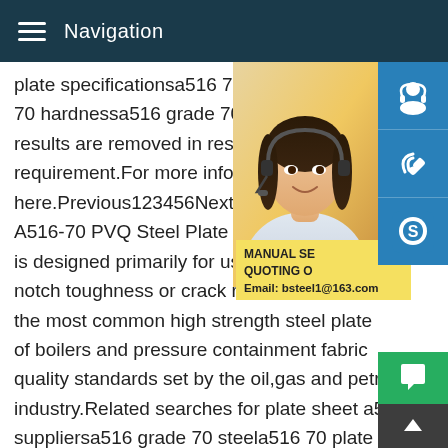Navigation
plate specificationsa516 70a516 grade 70 70 hardnessa516 grade 70 yield strengtha results are removed in response to a notice requirement.For more information,please s here.Previous123456NextA516 PVQ Plate A516-70 PVQ Steel Plate aka Pressure Ve is designed primarily for use in welded pre notch toughness or crack resistance is rec the most common high strength steel plate of boilers and pressure containment fabric quality standards set by the oil,gas and petrochemical industry.Related searches for plate sheet a516 grade 70 suppliersa516 grade 70 steela516 70 plate suppliersa516 70 s plate specificationsa516 70a516 grade 70 machinabilitya516 g 70 hardnessa516 grade 70 yield strengtha516 steel plateSom results are removed in response to a notice of local law
[Figure (photo): Customer service representative (woman with headset) used as overlay on the right side of the content]
MANUAL SE QUOTING O Email: bsteel1@163.com